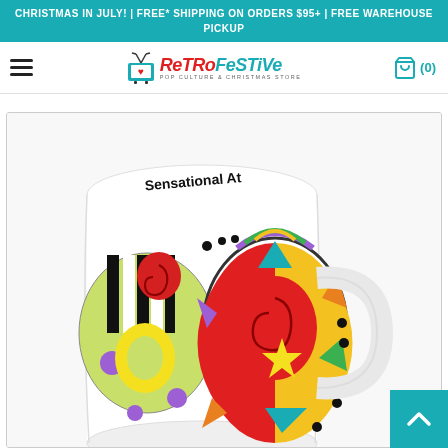CHRISTMAS IN JULY! | FREE* SHIPPING ON ORDERS $95+ | FREE WAREHOUSE PICKUP
[Figure (logo): RetroFestive Pop Culture & Christmas Store logo with a TV antenna icon and maple leaf]
[Figure (photo): A white ceramic mug with colorful '60' design and text 'SENSATIONAL AT' written inside the rim, photographed at an angle.]
[Figure (other): Back to top arrow button in teal color at bottom right]